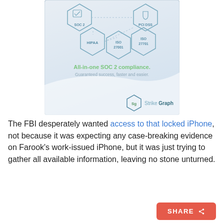[Figure (infographic): Strike Graph advertisement showing compliance certifications (SOC 2, PCI DSS, HIPAA, ISO 27001, ISO 27701) as hexagon shapes, with tagline 'All-in-one SOC 2 compliance. Guaranteed success, faster and easier.' and Strike Graph logo.]
The FBI desperately wanted access to that locked iPhone, not because it was expecting any case-breaking evidence on Farook's work-issued iPhone, but it was just trying to gather all available information, leaving no stone unturned.